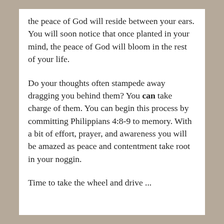the peace of God will reside between your ears. You will soon notice that once planted in your mind, the peace of God will bloom in the rest of your life.
Do your thoughts often stampede away dragging you behind them? You can take charge of them. You can begin this process by committing Philippians 4:8-9 to memory. With a bit of effort, prayer, and awareness you will be amazed as peace and contentment take root in your noggin.
Time to take the wheel and drive ...